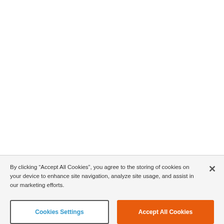By clicking “Accept All Cookies”, you agree to the storing of cookies on your device to enhance site navigation, analyze site usage, and assist in our marketing efforts.
Cookies Settings
Accept All Cookies